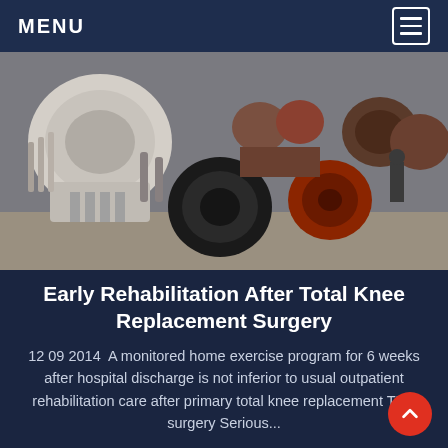MENU
[Figure (photo): Industrial machinery — large cone crushers or similar heavy equipment lined up in a warehouse or factory setting, with a person visible in the background.]
Early Rehabilitation After Total Knee Replacement Surgery
12 09 2014  A monitored home exercise program for 6 weeks after hospital discharge is not inferior to usual outpatient rehabilitation care after primary total knee replacement TKR surgery Serious...